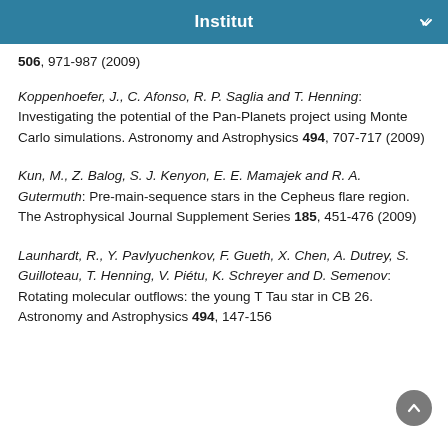Institut
506, 971-987 (2009)
Koppenhoefer, J., C. Afonso, R. P. Saglia and T. Henning: Investigating the potential of the Pan-Planets project using Monte Carlo simulations. Astronomy and Astrophysics 494, 707-717 (2009)
Kun, M., Z. Balog, S. J. Kenyon, E. E. Mamajek and R. A. Gutermuth: Pre-main-sequence stars in the Cepheus flare region. The Astrophysical Journal Supplement Series 185, 451-476 (2009)
Launhardt, R., Y. Pavlyuchenkov, F. Gueth, X. Chen, A. Dutrey, S. Guilloteau, T. Henning, V. Piétu, K. Schreyer and D. Semenov: Rotating molecular outflows: the young T Tau star in CB 26. Astronomy and Astrophysics 494, 147-156